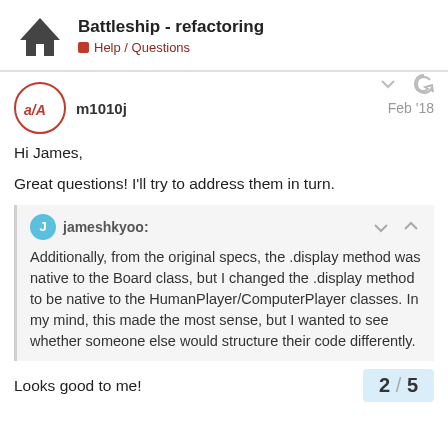Battleship - refactoring | Help / Questions
m1010j  Feb '18
Hi James,
Great questions! I'll try to address them in turn.
jameshkyoo: Additionally, from the original specs, the .display method was native to the Board class, but I changed the .display method to be native to the HumanPlayer/ComputerPlayer classes. In my mind, this made the most sense, but I wanted to see whether someone else would structure their code differently.
Looks good to me!
2 / 5